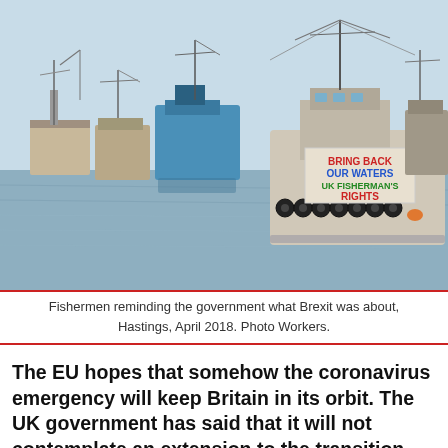[Figure (photo): Fishing boats on water near Hastings harbour. A banner on the nearest boat reads 'BRING BACK OUR WATERS UK FISHERMAN'S RIGHTS'. Multiple trawlers visible in the background under a pale sky.]
Fishermen reminding the government what Brexit was about, Hastings, April 2018. Photo Workers.
The EU hopes that somehow the coronavirus emergency will keep Britain in its orbit. The UK government has said that it will not contemplate an extension to the transition period. The impact of Covid-19 makes it more important that there is no